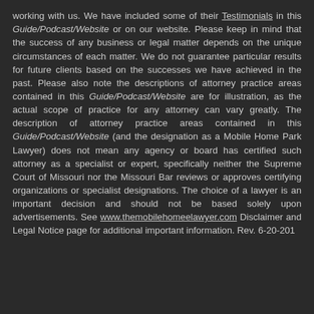working with us. We have included some of their Testimonials in this Guide/Podcast/Website or on our website. Please keep in mind that the success of any business or legal matter depends on the unique circumstances of each matter. We do not guarantee particular results for future clients based on the successes we have achieved in the past. Please also note the descriptions of attorney practice areas contained in this Guide/Podcast/Website are for illustration, as the actual scope of practice for any attorney can vary greatly. The description of attorney practice areas contained in this Guide/Podcast/Website (and the designation as a Mobile Home Park Lawyer) does not mean any agency or board has certified such attorney as a specialist or expert, specifically neither the Supreme Court of Missouri nor the Missouri Bar reviews or approves certifying organizations or specialist designations. The choice of a lawyer is an important decision and should not be based solely upon advertisements. See www.themobilehomeelawyer.com Disclaimer and Legal Notice page for additional important information. Rev. 6-20-201